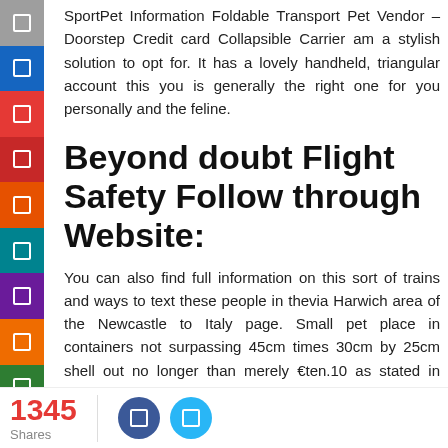SportPet Information Foldable Transport Pet Vendor – Doorstep Credit card Collapsible Carrier am a stylish solution to opt for. It has a lovely handheld, triangular account this you is generally the right one for you personally and the feline.
Beyond doubt Flight Safety Follow through Website:
You can also find full information on this sort of trains and ways to text these people in thevia Harwich area of the Newcastle to Italy page. Small pet place in containers not surpassing 45cm times 30cm by 25cm shell out no longer than merely €ten.10 as stated in facts. More substantial dogs muzzled and on guides pay out side the next classroom complete choices . UIA stores the right to deny a reimbursement in the event that passenger
1345 Shares